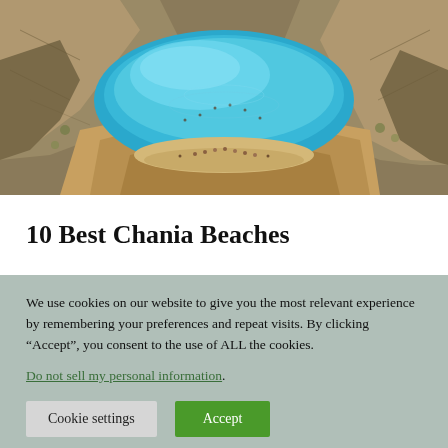[Figure (photo): Aerial view of Seitan Limania beach in Chania, Crete, Greece — a turquoise lagoon nestled between rocky cliffs with people swimming and sunbathing on the narrow sandy shore.]
10 Best Chania Beaches
We use cookies on our website to give you the most relevant experience by remembering your preferences and repeat visits. By clicking “Accept”, you consent to the use of ALL the cookies. Do not sell my personal information.